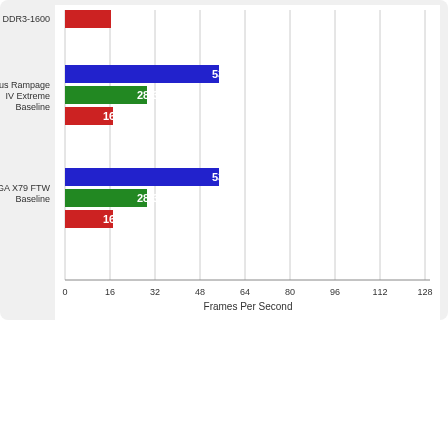[Figure (grouped-bar-chart): Frames Per Second Benchmark]